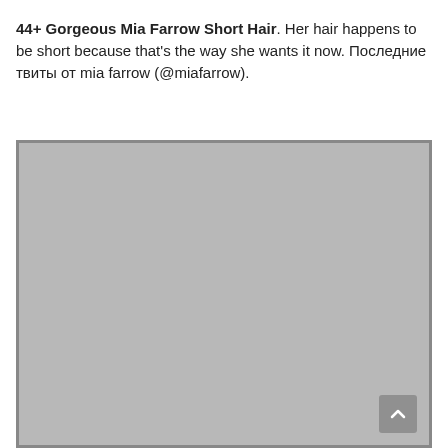44+ Gorgeous Mia Farrow Short Hair. Her hair happens to be short because that's the way she wants it now. Последние твиты от mia farrow (@miafarrow).
[Figure (photo): Large gray placeholder image with a scroll-to-top button in the bottom right corner]